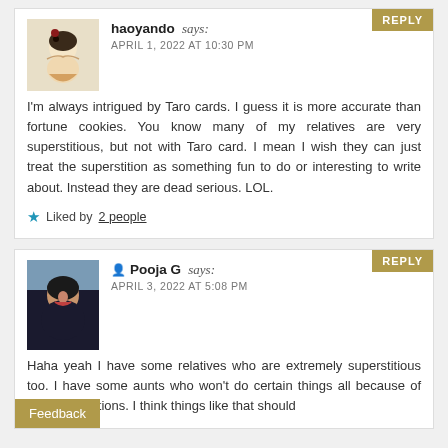haoyando says: APRIL 1, 2022 AT 10:30 PM — I'm always intrigued by Taro cards. I guess it is more accurate than fortune cookies. You know many of my relatives are very superstitious, but not with Taro card. I mean I wish they can just treat the superstition as something fun to do or interesting to write about. Instead they are dead serious. LOL. Liked by 2 people
Pooja G says: APRIL 3, 2022 AT 5:08 PM — Haha yeah I have some relatives who are extremely superstitious too. I have some aunts who won't do certain things all because of silly superstitions. I think things like that should